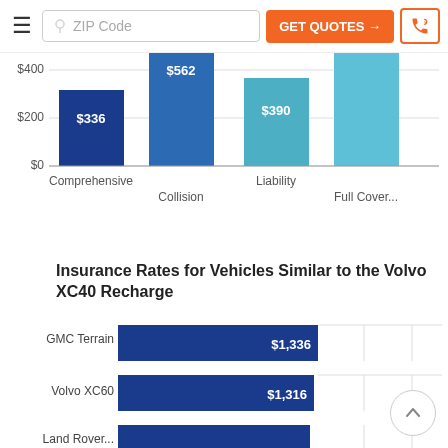≡  ZIP Code  GET QUOTES →  [phone icon]
[Figure (bar-chart): Coverage Type Cost Comparison]
Insurance Rates for Vehicles Similar to the Volvo XC40 Recharge
[Figure (bar-chart): Insurance Rates for Vehicles Similar to the Volvo XC40 Recharge]